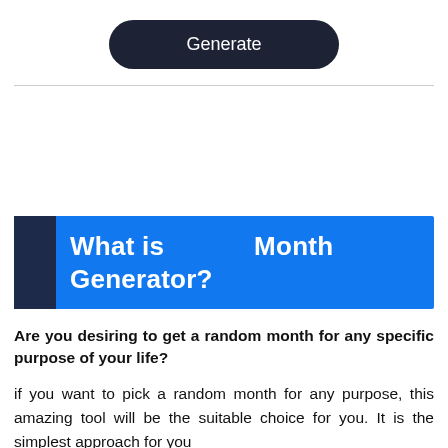[Figure (other): Dark navy rounded button labeled 'Generate']
What is Month Generator?
Are you desiring to get a random month for any specific purpose of your life?
if you want to pick a random month for any purpose, this amazing tool will be the suitable choice for you. It is the simplest approach for you